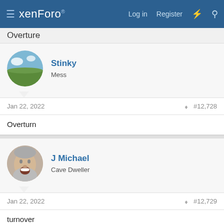xenForo — Log in  Register
Overture
Stinky
Mess
Jan 22, 2022  #12,728
Overturn
J Michael
Cave Dweller
Jan 22, 2022  #12,729
turnover
Luke
Merarches